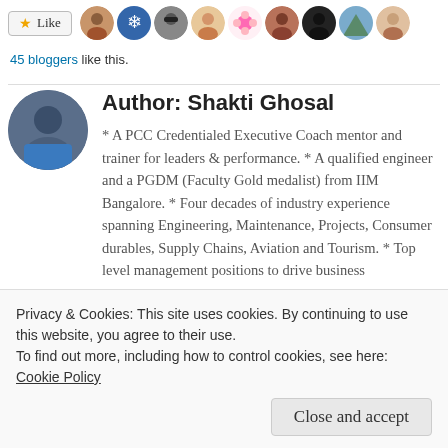[Figure (other): Like button with star icon and row of blogger avatar profile pictures]
45 bloggers like this.
Author: Shakti Ghosal
* A PCC Credentialed Executive Coach mentor and trainer for leaders & performance. * A qualified engineer and a PGDM (Faculty Gold medalist) from IIM Bangalore. * Four decades of industry experience spanning Engineering, Maintenance, Projects, Consumer durables, Supply Chains, Aviation and Tourism. * Top level management positions to drive business
Privacy & Cookies: This site uses cookies. By continuing to use this website, you agree to their use.
To find out more, including how to control cookies, see here:
Cookie Policy
Close and accept
View all posts by Shakti Ghosal